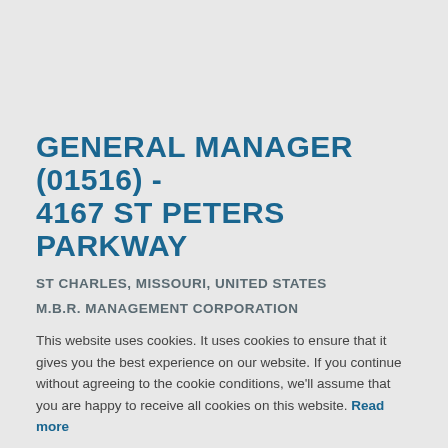GENERAL MANAGER (01516) - 4167 ST PETERS PARKWAY
ST CHARLES, MISSOURI, UNITED STATES
M.B.R. MANAGEMENT CORPORATION
This website uses cookies. It uses cookies to ensure that it gives you the best experience on our website. If you continue without agreeing to the cookie conditions, we'll assume that you are happy to receive all cookies on this website. Read more
CONTINUE